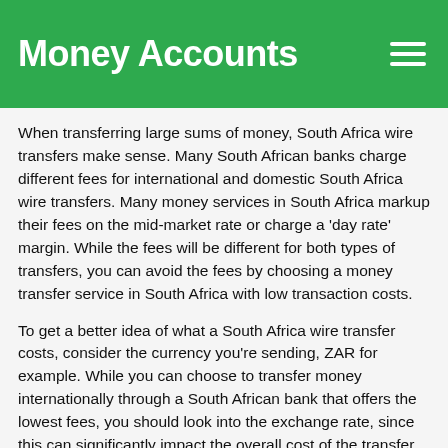Money Accounts
When transferring large sums of money, South Africa wire transfers make sense. Many South African banks charge different fees for international and domestic South Africa wire transfers. Many money services in South Africa markup their fees on the mid-market rate or charge a 'day rate' margin. While the fees will be different for both types of transfers, you can avoid the fees by choosing a money transfer service in South Africa with low transaction costs.
To get a better idea of what a South Africa wire transfer costs, consider the currency you're sending, ZAR for example. While you can choose to transfer money internationally through a South African bank that offers the lowest fees, you should look into the exchange rate, since this can significantly impact the overall cost of the transfer in South Africa. South African banks that offer competitive exchange rates are also a great choice. You can initiate a South Africa wire transfer online, at a South African branch, or by phone, some offer livechat.
How Long Does A South Africa Wire